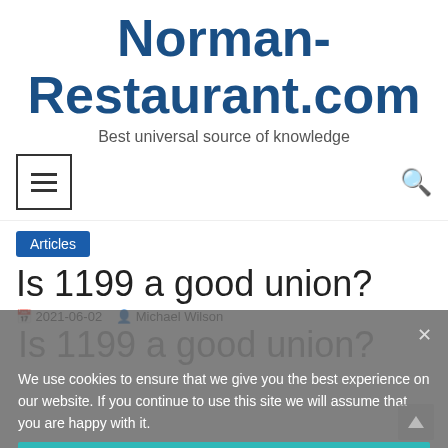Norman-Restaurant.com
Best universal source of knowledge
[Figure (other): Navigation bar with hamburger menu icon (three horizontal lines in a bordered box) on the left and a search icon on the right]
Articles
Is 1199 a good union?
2021-06-02   Michael Wilson
Is 1199 a good union?
We use cookies to ensure that we give you the best experience on our website. If you continue to use this site we will assume that you are happy with it.
Ok
While 1199 has done well by its members—boosting